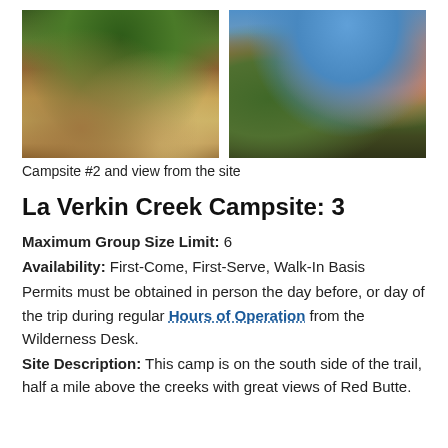[Figure (photo): Two side-by-side outdoor photos: left shows a forest campsite with cleared dirt area and log fence posts; right shows red rock buttes visible through desert shrubs under blue sky.]
Campsite #2 and view from the site
La Verkin Creek Campsite: 3
Maximum Group Size Limit: 6
Availability: First-Come, First-Serve, Walk-In Basis
Permits must be obtained in person the day before, or day of the trip during regular Hours of Operation from the Wilderness Desk.
Site Description: This camp is on the south side of the trail, half a mile above the creeks with great views of Red Butte.